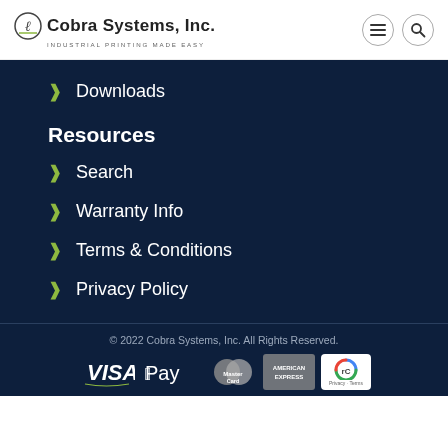Cobra Systems, Inc. INDUSTRIAL PRINTING MADE EASY
Downloads
Resources
Search
Warranty Info
Terms & Conditions
Privacy Policy
© 2022 Cobra Systems, Inc. All Rights Reserved.